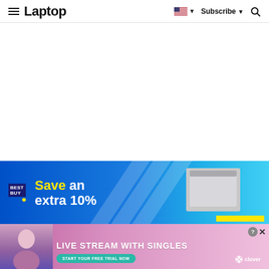Laptop — Subscribe — Search
[Figure (screenshot): White blank content area]
[Figure (infographic): Best Buy advertisement: Save an extra 10%, blue background with diagonal stripes, appliance image on right, yellow bar]
[Figure (infographic): Dating advertisement: LIVE STREAM WITH SINGLES, pink gradient background, woman photo on left, START YOUR FREE TRIAL NOW button, clover logo, close button]